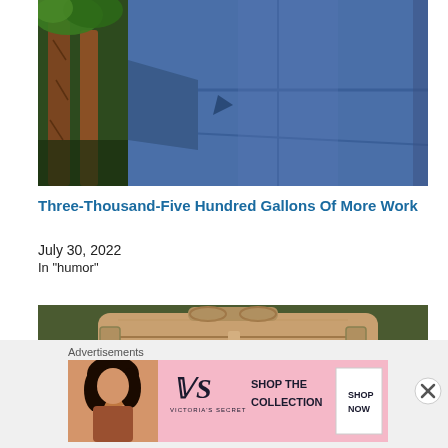[Figure (photo): Photo of a large blue painted wooden structure or building exterior with tree trunks visible on the left side against a sky background]
Three-Thousand-Five Hundred Gallons Of More Work
July 30, 2022
In "humor"
[Figure (photo): Photo of a brown/tan leather duffel bag outdoors with foliage in the background]
Advertisements
[Figure (infographic): Victoria's Secret advertisement banner showing a woman with curly hair, Victoria's Secret logo, text 'SHOP THE COLLECTION' and a 'SHOP NOW' button on pink background]